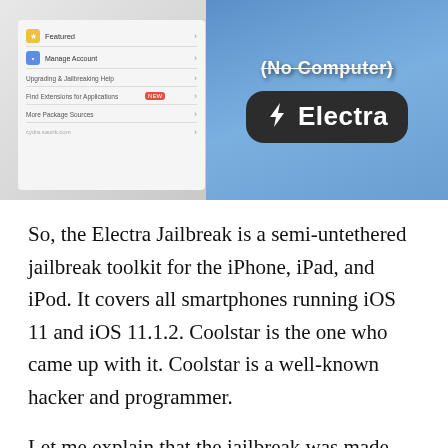[Figure (screenshot): A thumbnail image showing a phone screen with a Cydia menu on the left and an Electra jailbreak banner on the right. The banner reads '(No Computer)' with a strikethrough and shows the Electra logo (lightning bolt) with a dark rounded badge.]
So, the Electra Jailbreak is a semi-untethered jailbreak toolkit for the iPhone, iPad, and iPod. It covers all smartphones running iOS 11 and iOS 11.1.2. Coolstar is the one who came up with it. Coolstar is a well-known hacker and programmer.
Let me explain that the jailbreak was made available mainly for developers. As a result, they can all simply test their jailbroken apps